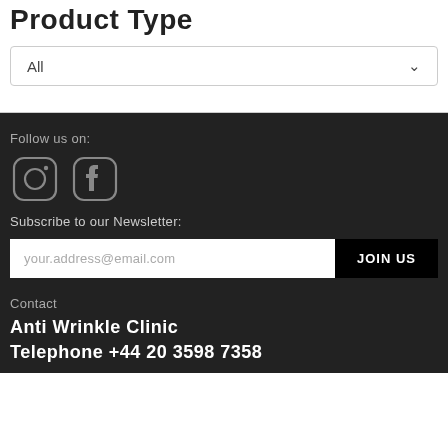Product Type
All
Follow us on:
[Figure (illustration): Instagram and Facebook social media icons outlined in light gray on dark background]
Subscribe to our Newsletter:
your.address@email.com
JOIN US
Contact
Anti Wrinkle Clinic
Telephone +44 20 3598 7358